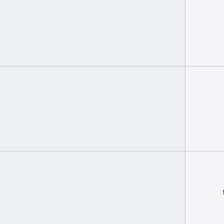|  | Parameter | Description |
| --- | --- | --- |
|  |  | to gather and display this importation. |
|  |  | If set to "on" the engine will produce verbose output on steps and time taken for each step in the query. This can be useful for optimizing your queries. |
|  | timeout | Amount of time in milliseconds that console will hang waiting for a response. It must be a positive number |
|  | unprintable_chars | Determines how to print unprintable characters, for exa... |